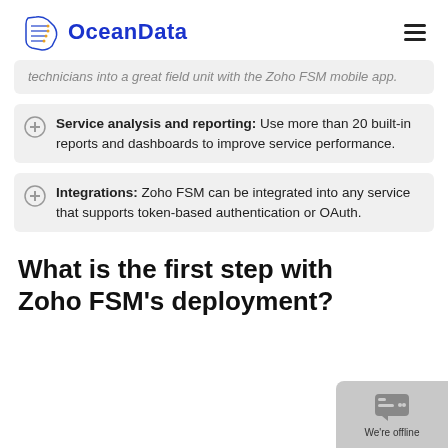OceanData
technicians into a great field unit with the Zoho FSM mobile app.
Service analysis and reporting: Use more than 20 built-in reports and dashboards to improve service performance.
Integrations: Zoho FSM can be integrated into any service that supports token-based authentication or OAuth.
What is the first step with Zoho FSM's deployment?